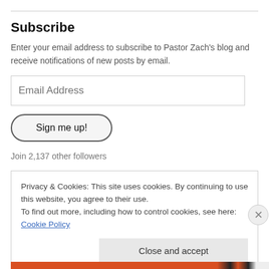Subscribe
Enter your email address to subscribe to Pastor Zach's blog and receive notifications of new posts by email.
Email Address
Sign me up!
Join 2,137 other followers
Privacy & Cookies: This site uses cookies. By continuing to use this website, you agree to their use.
To find out more, including how to control cookies, see here: Cookie Policy
Close and accept